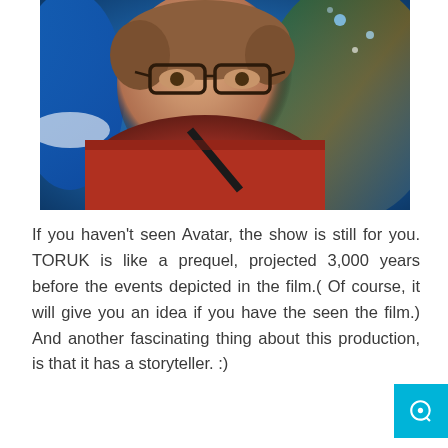[Figure (photo): A young man with glasses wearing a red jacket taking a selfie in front of a colorful Avatar-themed backdrop with blue figures and decorative elements]
If you haven't seen Avatar, the show is still for you. TORUK is like a prequel, projected 3,000 years before the events depicted in the film.( Of course, it will give you an idea if you have the seen the film.) And another fascinating thing about this production, is that it has a storyteller. :)